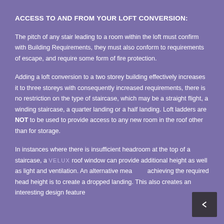ACCESS TO AND FROM YOUR LOFT CONVERSION:
The pitch of any stair leading to a room within the loft must confirm with Building Requirements, they must also conform to requirements of escape, and require some form of fire protection.
Adding a loft conversion to a two storey building effectively increases it to three storeys with consequently increased requirements, there is no restriction on the type of staircase, which may be a straight flight, a winding staircase, a quarter landing or a half landing. Loft ladders are NOT to be used to provide access to any new room in the roof other than for storage.
In instances where there is insufficient headroom at the top of a staircase, a VELUX roof window can provide additional height as well as light and ventilation. An alternative means of achieving the required head height is to create a dropped landing. This also creates an interesting design feature